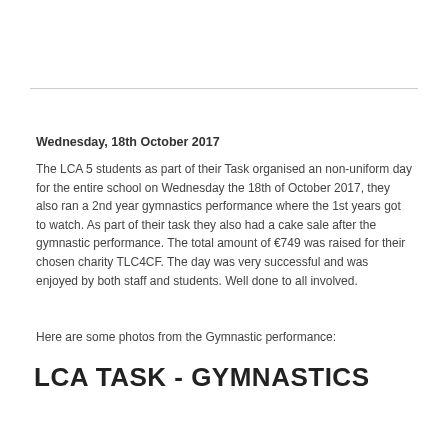Wednesday, 18th October 2017
The LCA 5 students as part of their Task organised an non-uniform day for the entire school on Wednesday the 18th of October 2017, they also ran a 2nd year gymnastics performance where the 1st years got to watch. As part of their task they also had a cake sale after the gymnastic performance. The total amount of €749 was raised for their chosen charity TLC4CF. The day was very successful and was enjoyed by both staff and students. Well done to all involved.
Here are some photos from the Gymnastic performance:
LCA TASK - GYMNASTICS